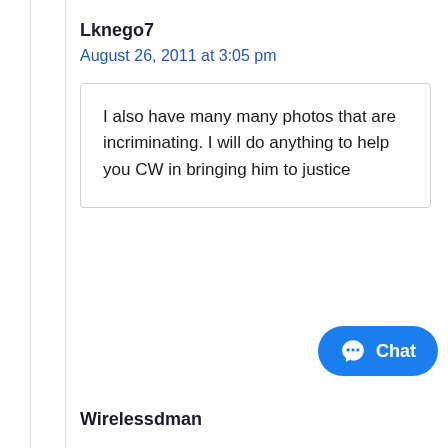Lknego7
August 26, 2011 at 3:05 pm
I also have many many photos that are incriminating. I will do anything to help you CW in bringing him to justice
Chat
Wirelessdman